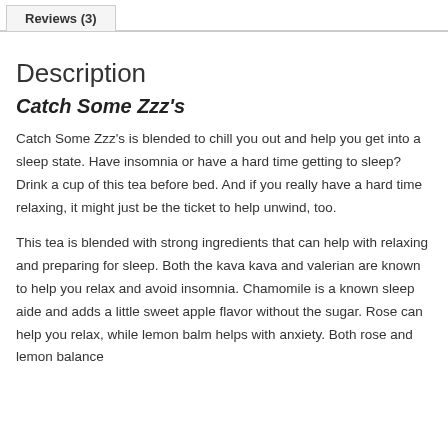Reviews (3)
Description
Catch Some Zzz's
Catch Some Zzz's is blended to chill you out and help you get into a sleep state. Have insomnia or have a hard time getting to sleep? Drink a cup of this tea before bed. And if you really have a hard time relaxing, it might just be the ticket to help unwind, too.
This tea is blended with strong ingredients that can help with relaxing and preparing for sleep. Both the kava kava and valerian are known to help you relax and avoid insomnia. Chamomile is a known sleep aide and adds a little sweet apple flavor without the sugar. Rose can help you relax, while lemon balm helps with anxiety. Both rose and lemon balance